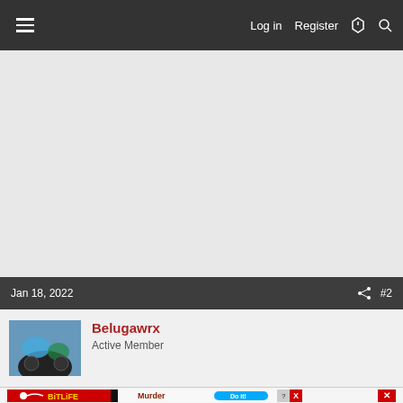Log in  Register
Jan 18, 2022  #2
Belugawrx
Active Member
[Figure (screenshot): Advertisement banner for BitLife mobile game showing red background with BitLife logo and Murder Do it! call to action button]